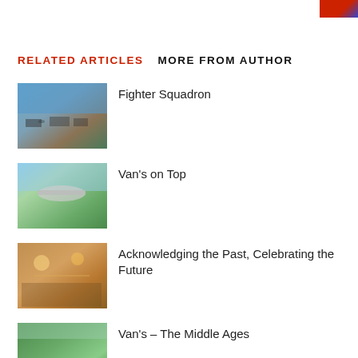RELATED ARTICLES   MORE FROM AUTHOR
[Figure (photo): Aerial view of fighter jets and aircraft on display at an airshow, people walking around on tarmac with blue sky]
Fighter Squadron
[Figure (photo): Small propeller aircraft in flight close-up, green landscape below]
Van's on Top
[Figure (photo): Indoor banquet or event hall with warm lighting, people seated at tables]
Acknowledging the Past, Celebrating the Future
[Figure (photo): Small aircraft on grass airstrip with forest in background]
Van's – The Middle Ages